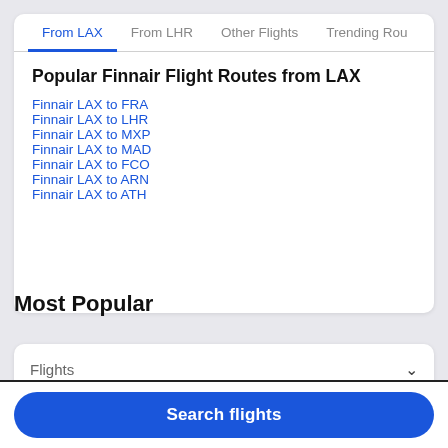From LAX | From LHR | Other Flights | Trending Rou
Popular Finnair Flight Routes from LAX
Finnair LAX to FRA
Finnair LAX to LHR
Finnair LAX to MXP
Finnair LAX to MAD
Finnair LAX to FCO
Finnair LAX to ARN
Finnair LAX to ATH
Most Popular
Flights
Search flights